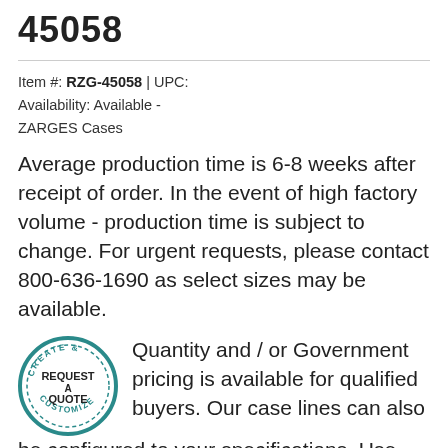45058
Item #: RZG-45058 | UPC:
Availability: Available -
ZARGES Cases
Average production time is 6-8 weeks after receipt of order. In the event of high factory volume - production time is subject to change. For urgent requests, please contact 800-636-1690 as select sizes may be available.
Quantity and / or Government pricing is available for qualified buyers. Our case lines can also be configured to your specifications. Use our Request A Quote form to provide your